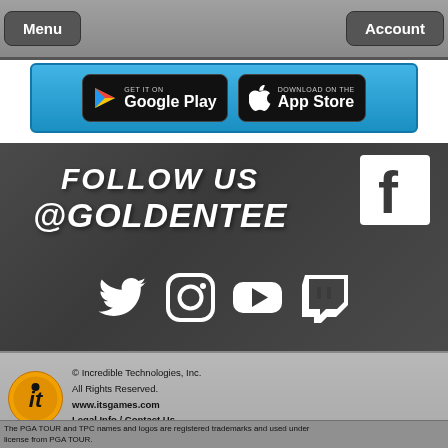Menu  Account
[Figure (screenshot): App store download buttons: GET IT ON Google Play and Download on the App Store on a blue banner background]
FOLLOW US @GOLDENTEE
[Figure (logo): Facebook logo icon - white F on dark square]
[Figure (infographic): Social media icons: Twitter, Instagram, YouTube, Twitch]
© Incredible Technologies, Inc. All Rights Reserved. www.itsgames.com Legal Info / Contact Us
The PGA TOUR and TPC names and logos are registered trademarks and used under license from PGA TOUR.